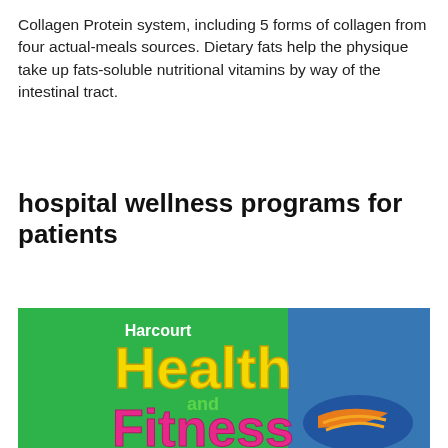Collagen Protein system, including 5 forms of collagen from four actual-meals sources. Dietary fats help the physique take up fats-soluble nutritional vitamins by way of the intestinal tract.
hospital wellness programs for patients
[Figure (illustration): Book cover for 'Harcourt Health and Fitness' showing large colorful text on a green and blue background with a person wearing blue athletic shoes with orange laces.]